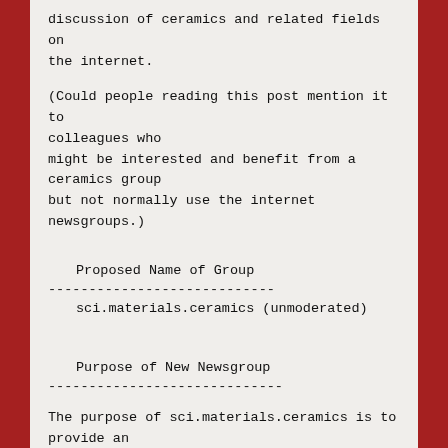discussion of ceramics and related fields on the internet.
(Could people reading this post mention it to colleagues who might be interested and benefit from a ceramics group but not normally use the internet newsgroups.)
Proposed Name of Group
----------------------------
sci.materials.ceramics (unmoderated)
Purpose of New Newsgroup
-----------------------------
The purpose of sci.materials.ceramics is to provide an open discussion forum for the ceramics community on